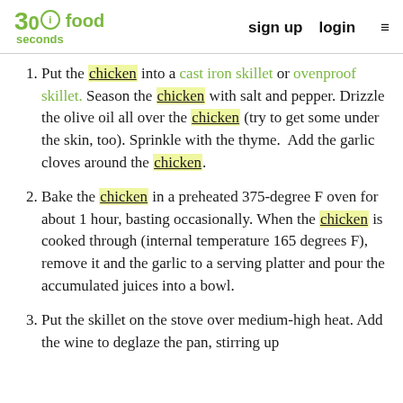30 seconds food | sign up | login
Put the chicken into a cast iron skillet or ovenproof skillet. Season the chicken with salt and pepper. Drizzle the olive oil all over the chicken (try to get some under the skin, too). Sprinkle with the thyme. Add the garlic cloves around the chicken.
Bake the chicken in a preheated 375-degree F oven for about 1 hour, basting occasionally. When the chicken is cooked through (internal temperature 165 degrees F), remove it and the garlic to a serving platter and pour the accumulated juices into a bowl.
Put the skillet on the stove over medium-high heat. Add the wine to deglaze the pan, stirring up